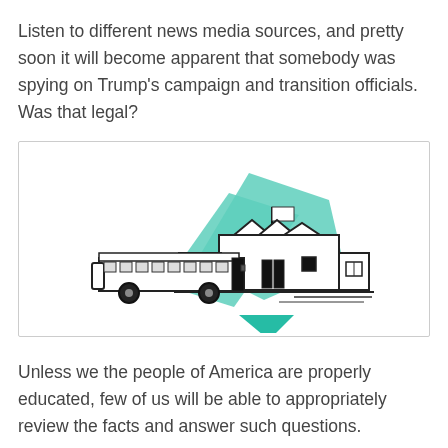Listen to different news media sources, and pretty soon it will become apparent that somebody was spying on Trump's campaign and transition officials. Was that legal?
[Figure (illustration): Illustration of a school building with geometric teal/mint colored diamond shapes in the background and a school bus in front. Black and white line art style with teal accent shapes.]
Unless we the people of America are properly educated, few of us will be able to appropriately review the facts and answer such questions.